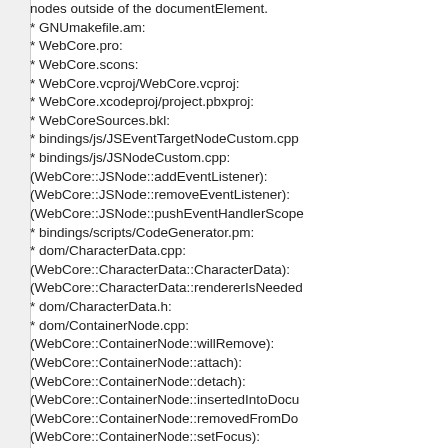nodes outside of the documentElement.
* GNUmakefile.am:
* WebCore.pro:
* WebCore.scons:
* WebCore.vcproj/WebCore.vcproj:
* WebCore.xcodeproj/project.pbxproj:
* WebCoreSources.bkl:
* bindings/js/JSEventTargetNodeCustom.cpp
* bindings/js/JSNodeCustom.cpp:
(WebCore::JSNode::addEventListener):
(WebCore::JSNode::removeEventListener):
(WebCore::JSNode::pushEventHandlerScope
* bindings/scripts/CodeGenerator.pm:
* dom/CharacterData.cpp:
(WebCore::CharacterData::CharacterData):
(WebCore::CharacterData::rendererIsNeede
* dom/CharacterData.h:
* dom/ContainerNode.cpp:
(WebCore::ContainerNode::willRemove):
(WebCore::ContainerNode::attach):
(WebCore::ContainerNode::detach):
(WebCore::ContainerNode::insertedIntoDocu
(WebCore::ContainerNode::removedFromDo
(WebCore::ContainerNode::setFocus):
(WebCore::ContainerNode::setActive):
(WebCore::ContainerNode::setHovered):
(WebCore::dispatchChildInsertionEvents):
(WebCore::dispatchChildRemovalEvents):
* dom/ContainerNode.h: